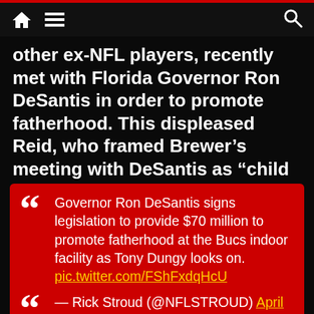navigation bar with home, menu, and search icons
other ex-NFL players, recently met with Florida Governor Ron DeSantis in order to promote fatherhood. This displeased Reid, who framed Brewer's meeting with DeSantis as “child abuse.”
Governor Ron DeSantis signs legislation to provide $70 million to promote fatherhood at the Bucs indoor facility as Tony Dungy looks on. pic.twitter.com/FShFxdqHcU — Rick Stroud (@NFLSTROUD) April 11, 2022